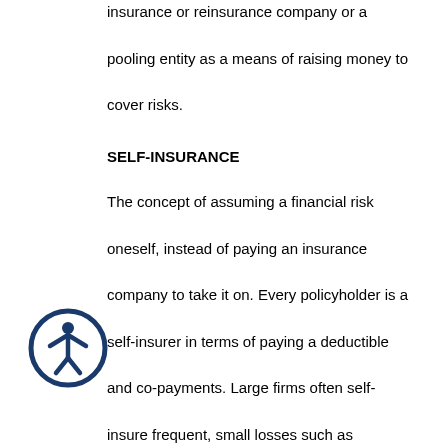insurance or reinsurance company or a pooling entity as a means of raising money to cover risks.
SELF-INSURANCE
The concept of assuming a financial risk oneself, instead of paying an insurance company to take it on. Every policyholder is a self-insurer in terms of paying a deductible and co-payments. Large firms often self-insure frequent, small losses such as damage to their fleet of vehicles or minor workplace injuries. However, to protect
[Figure (illustration): Accessibility icon: a circular dark blue border with a white human figure silhouette in the center, representing accessibility.]